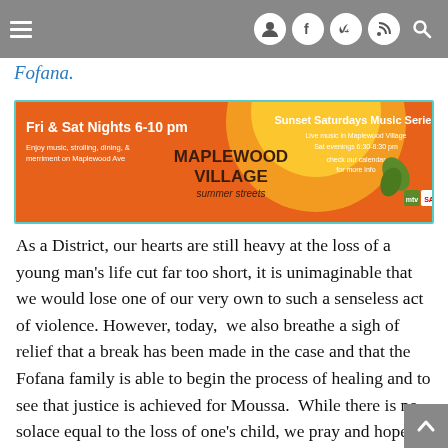Navigation bar with hamburger menu and social icons (user, facebook, twitter, rss, search)
Fofana.
[Figure (other): Advertisement banner for Maplewood Village summer streets event. Orange background with sun graphic. Text: Fri & Sat Nights 6-10 pm, Enjoy music, strolling, dining, & merriment on Maplewood Ave. MAPLEWOOD VILLAGE summer streets. Sunset Saturdays Music Series. Live music in Maplewood Village. Sat evenings 6:30-8:30 pm. check our calendar for more info.]
As a District, our hearts are still heavy at the loss of a young man's life cut far too short, it is unimaginable that we would lose one of our very own to such a senseless act of violence. However, today,  we also breathe a sigh of relief that a break has been made in the case and that the Fofana family is able to begin the process of healing and to see that justice is achieved for Moussa.  While there is no solace equal to the loss of one's child, we pray and hope that this conclusion will bring comfort and perhaps some closure for the Fofana's